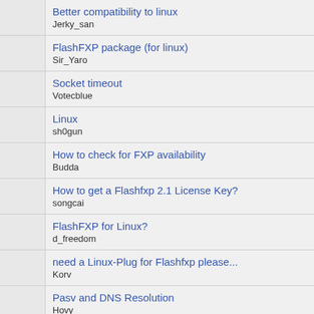Better compatibility to linux
Jerky_san
FlashFXP package (for linux)
Sir_Yaro
Socket timeout
Votecblue
Linux
sh0gun
How to check for FXP availability
Budda
How to get a Flashfxp 2.1 License Key?
songcai
FlashFXP for Linux?
d_freedom
need a Linux-Plug for Flashfxp please...
Korv
Pasv and DNS Resolution
Hovy
!bnc does not work..
welldone